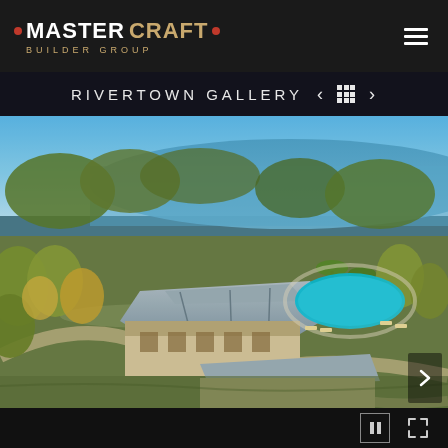MASTERCRAFT BUILDER GROUP
RIVERTOWN GALLERY
[Figure (photo): Aerial drone photograph of a resort-style community clubhouse with a large lagoon-style pool surrounded by palm trees and lush landscaping, set against a backdrop of mature trees and a wide body of water (river or lake) under a bright blue sky.]